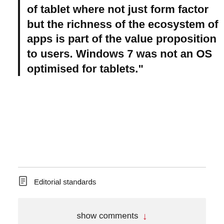of tablet where not just form factor but the richness of the ecosystem of apps is part of the value proposition to users. Windows 7 was not an OS optimised for tablets."
Editorial standards
show comments